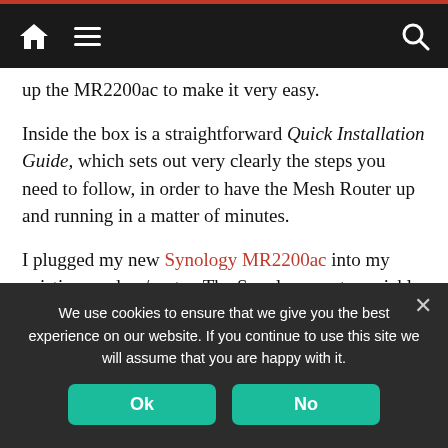Navigation bar with home icon, menu icon, and search icon
up the MR2200ac to make it very easy.
Inside the box is a straightforward Quick Installation Guide, which sets out very clearly the steps you need to follow, in order to have the Mesh Router up and running in a matter of minutes.
I plugged my new Synology MR2200ac into my existing modem/router. The Synology router quickly appeared in the (extensive) selection of possible wireless networks. Once selected, I typed the address (from the Quick Installation Guide) into my browser and launched the setup
We use cookies to ensure that we give you the best experience on our website. If you continue to use this site we will assume that you are happy with it.